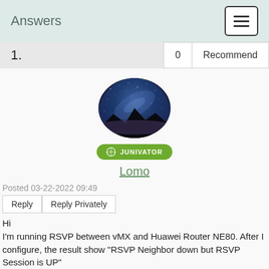Answers
1.   0  Recommend
[Figure (photo): Circular avatar photo showing a night sky with Milky Way galaxy over a dark mountain silhouette]
JUNIVATOR
Lomo
Posted 03-22-2022 09:49
Reply  Reply Privately
Hi
I'm running RSVP between vMX and Huawei Router NE80. After I configure, the result show "RSVP Neighbor down but RSVP Session is UP"